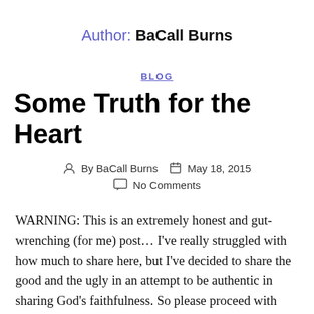Author: BaCall Burns
BLOG
Some Truth for the Heart
By BaCall Burns   May 18, 2015   No Comments
WARNING: This is an extremely honest and gut-wrenching (for me) post… I've really struggled with how much to share here, but I've decided to share the good and the ugly in an attempt to be authentic in sharing God's faithfulness. So please proceed with